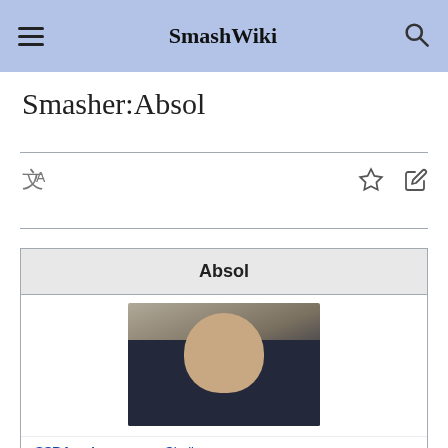SmashWiki
Smasher:Absol
[Figure (screenshot): SmashWiki article page for Smasher:Absol with infobox containing player photo, SSB4 main Sheik, Other SSB4 Corrin]
| Field | Value |
| --- | --- |
| Absol |  |
| SSB4 main | Sheik |
| Other SSB4 | Corrin |